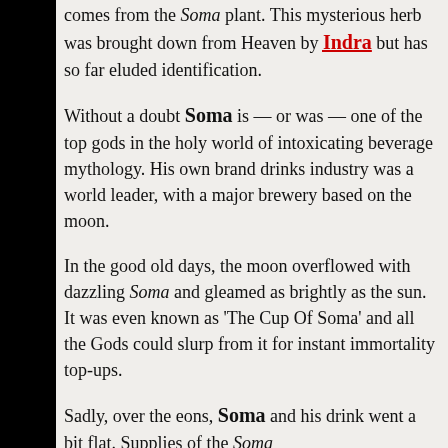comes from the Soma plant. This mysterious herb was brought down from Heaven by Indra but has so far eluded identification.
Without a doubt Soma is — or was — one of the top gods in the holy world of intoxicating beverage mythology. His own brand drinks industry was a world leader, with a major brewery based on the moon.
In the good old days, the moon overflowed with dazzling Soma and gleamed as brightly as the sun. It was even known as 'The Cup Of Soma' and all the Gods could slurp from it for instant immortality top-ups.
Sadly, over the eons, Soma and his drink went a bit flat. Supplies of the Soma...